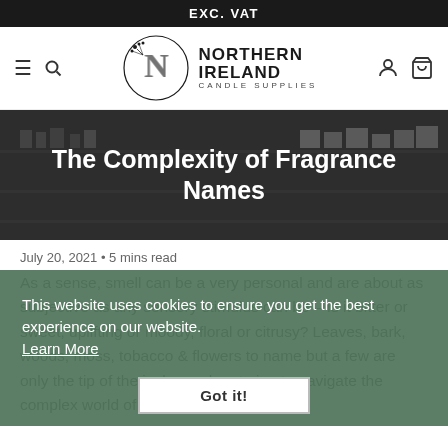EXC. VAT
[Figure (logo): Northern Ireland Candle Supplies logo with circular botanical emblem and bold text]
[Figure (photo): Dark background hero image of a candle shop interior with shelves of candles]
The Complexity of Fragrance Names
July 20, 2021 • 5 mins read
This website uses cookies to ensure you get the best experience on our website. Learn More
As a sense, smell can be a very personal and are about as subjective as any sensory stimulus can be – Is it bitter or sweet, uplifting or moody, floral or citrusy? Leaves, bark, woods, moss, tobacco & flowers to name but a few are only the tip of the iceberg when trying to navigate the complex world of fragrances and